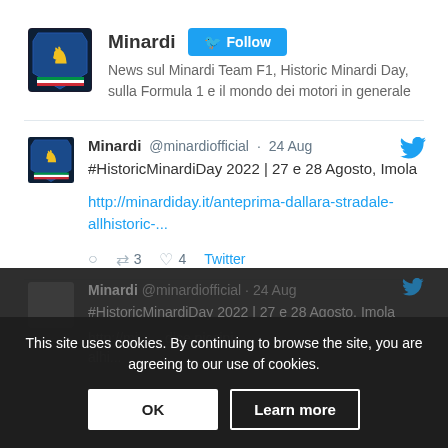[Figure (logo): Minardi team shield logo with lion and Italian flag colors]
Minardi   Follow
News sul Minardi Team F1, Historic Minardi Day, sulla Formula 1 e il mondo dei motori in generale
[Figure (logo): Minardi team shield logo (tweet avatar)]
Minardi @minardiofficial · 24 Aug
#HistoricMinardiDay 2022 | 27 e 28 Agosto, Imola

http://minardiday.it/anteprima-dallara-stradale-allhistoric-...

◯  🔁 3  ♡ 4  Twitter
This site uses cookies. By continuing to browse the site, you are agreeing to our use of cookies.
OK    Learn more